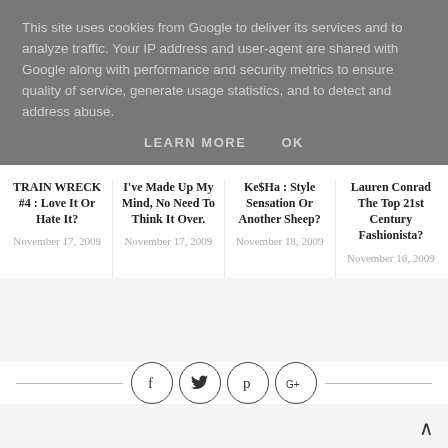This site uses cookies from Google to deliver its services and to analyze traffic. Your IP address and user-agent are shared with Google along with performance and security metrics to ensure quality of service, generate usage statistics, and to detect and address abuse.
LEARN MORE   OK
TRAIN WRECK #4 : Love It Or Hate It?
November 17, 2009
I've Made Up My Mind, No Need To Think It Over.
November 17, 2009
Ke$Ha : Style Sensation Or Another Sheep?
November 18, 2009
Lauren Conrad The Top 21st Century Fashionista?
November 16, 2009
[Figure (infographic): Social share icons in circles: Facebook (f), Twitter (bird), Pinterest (p), Google+ (g+), with horizontal lines on either side]